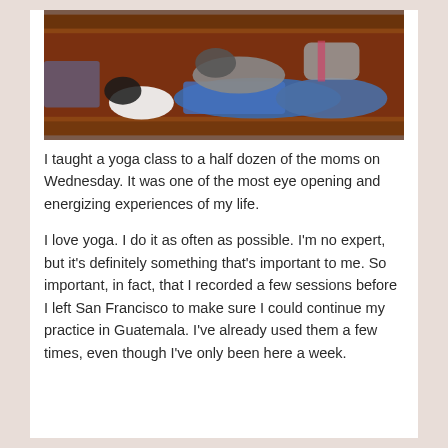[Figure (photo): Overhead view of people lying on yoga mats on a red/brown floor during a yoga class, viewed from above]
I taught a yoga class to a half dozen of the moms on Wednesday. It was one of the most eye opening and energizing experiences of my life.
I love yoga. I do it as often as possible. I'm no expert, but it's definitely something that's important to me. So important, in fact, that I recorded a few sessions before I left San Francisco to make sure I could continue my practice in Guatemala. I've already used them a few times, even though I've only been here a week.